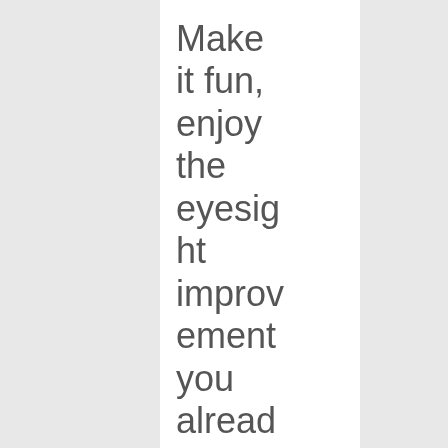Make it fun, enjoy the eyesight improvement you already